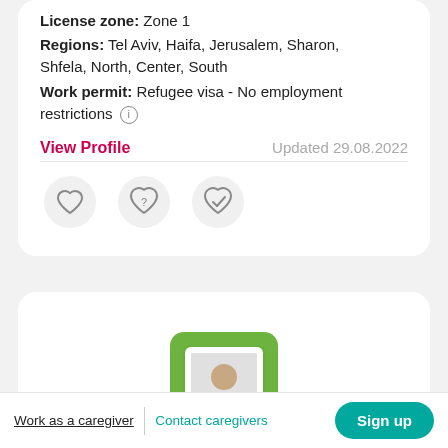License zone: Zone 1
Regions: Tel Aviv, Haifa, Jerusalem, Sharon, Shfela, North, Center, South
Work permit: Refugee visa - No employment restrictions
View Profile
Updated 29.08.2022
[Figure (illustration): Three icon buttons: heart (favorite), heart with question mark (maybe), heart with checkmark (selected)]
[Figure (photo): Profile photo of a person shown inside a white frame on a green rounded card background]
Work as a caregiver
Contact caregivers
Sign up